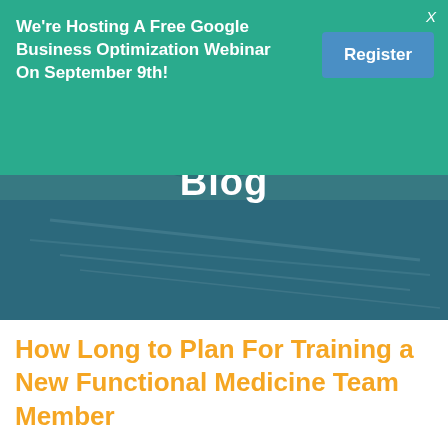We're Hosting A Free Google Business Optimization Webinar On September 9th!
[Figure (photo): Close-up photo of medical/dental instruments on paper, with a blue-tinted overlay and the word 'Blog' centered in white text]
How Long to Plan For Training a New Functional Medicine Team Member